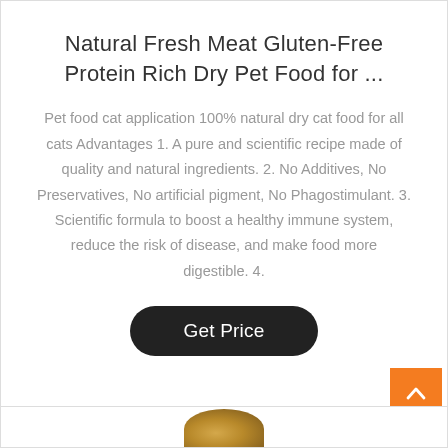Natural Fresh Meat Gluten-Free Protein Rich Dry Pet Food for ...
Pet food cat application 100% natural dry cat food for all cats Advantages 1. A pure and scientific recipe made of quality and natural ingredients. 2. No Additives, No Preservatives, No artificial pigment, No Phagostimulant. 3. Scientific formula to boost a healthy immune system, reduce the risk of disease, and make food more digestible. 4.
[Figure (other): Get Price button — dark rounded pill-shaped button with white text]
[Figure (other): Back-to-top orange square button with upward chevron arrow in white]
[Figure (photo): Partially visible circular product image (pet food packaging) at bottom of page]